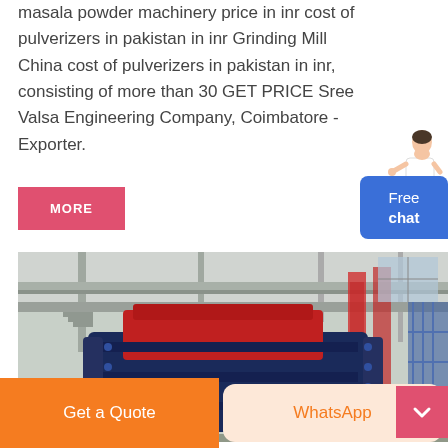masala powder machinery price in inr cost of pulverizers in pakistan in inr Grinding Mill China cost of pulverizers in pakistan in inr, consisting of more than 30 GET PRICE Sree Valsa Engineering Company, Coimbatore - Exporter.
MORE
Free chat
[Figure (photo): Large industrial hammer mill or crusher machine (blue and red) inside a factory building with steel structure framework visible in the background.]
Get a Quote
WhatsApp